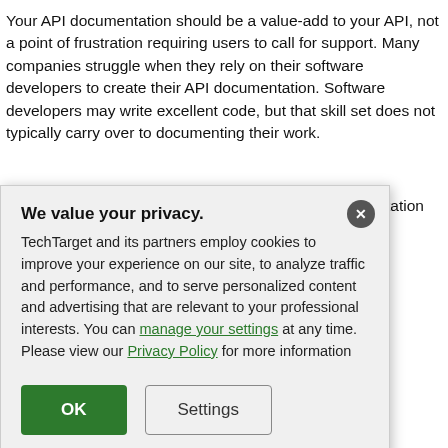Your API documentation should be a value-add to your API, not a point of frustration requiring users to call for support. Many companies struggle when they rely on their software developers to create their API documentation. Software developers may write excellent code, but that skill set does not typically carry over to documenting their work.
Because low-quality or outdated API software documentation reflects nd results in increased e API documentation ith your API, leaving best: write code.
President of Industrial ucing useful, modern, . You'll discover how competitive advantage, onfidence in your API,
[Figure (screenshot): Cookie consent modal dialog with title 'We value your privacy.' and body text about TechTarget cookies. Contains links 'manage your settings' and 'Privacy Policy', and two buttons: 'OK' (green) and 'Settings' (outlined). An X close button in a dark circle is in the top-right corner.]